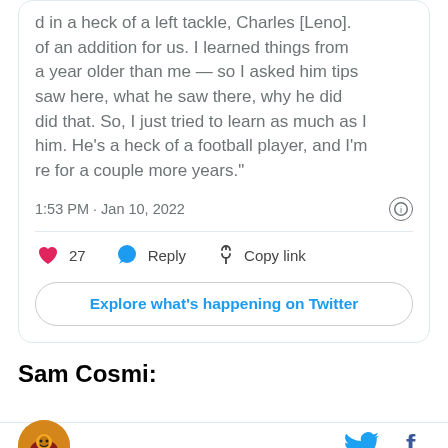d in a heck of a left tackle, Charles [Leno]. of an addition for us. I learned things from a year older than me — so I asked him tips saw here, what he saw there, why he did did that. So, I just tried to learn as much as I him. He's a heck of a football player, and I'm re for a couple more years."
1:53 PM · Jan 10, 2022
27  Reply  Copy link
Explore what's happening on Twitter
Sam Cosmi:
[Figure (logo): Circular logo with football mascot on orange/brown background]
[Figure (logo): Twitter bird icon in cyan blue]
[Figure (logo): Facebook f icon in dark blue]